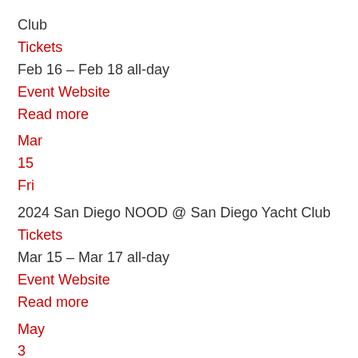Club
Tickets
Feb 16 – Feb 18 all-day
Event Website
Read more
Mar
15
Fri
2024 San Diego NOOD @ San Diego Yacht Club
Tickets
Mar 15 – Mar 17 all-day
Event Website
Read more
May
3